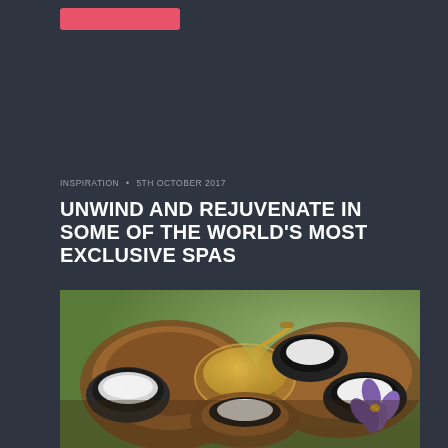INSPIRATION • 5TH OCTOBER 2017
UNWIND AND REJUVENATE IN SOME OF THE WORLD'S MOST EXCLUSIVE SPAS
[Figure (photo): Wooden bowls and black ceramic bowls containing white salt/sugar scrub ingredients, a glass bowl with honey and a wooden honey dipper, and a purple iris flower arranged on a wooden surface — spa treatment ingredients flatlay]